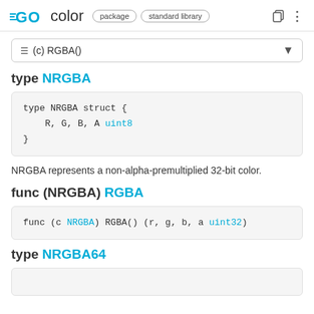GO color  package  standard library
≡ (c) RGBA()
type NRGBA
type NRGBA struct {
    R, G, B, A uint8
}
NRGBA represents a non-alpha-premultiplied 32-bit color.
func (NRGBA) RGBA
func (c NRGBA) RGBA() (r, g, b, a uint32)
type NRGBA64